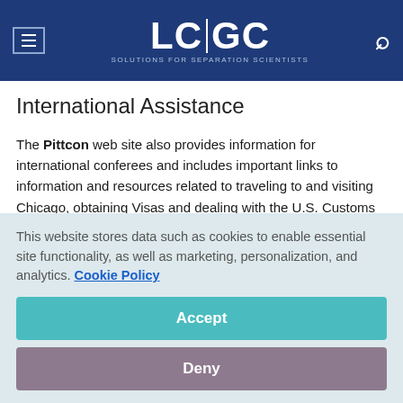LC|GC — Solutions for Separation Scientists
International Assistance
The Pittcon web site also provides information for international conferees and includes important links to information and resources related to traveling to and visiting Chicago, obtaining Visas and dealing with the U.S. Customs authority http://www.pittcon.org/attendee/InternationalVisitors.html.
This website stores data such as cookies to enable essential site functionality, as well as marketing, personalization, and analytics. Cookie Policy
Accept
Deny